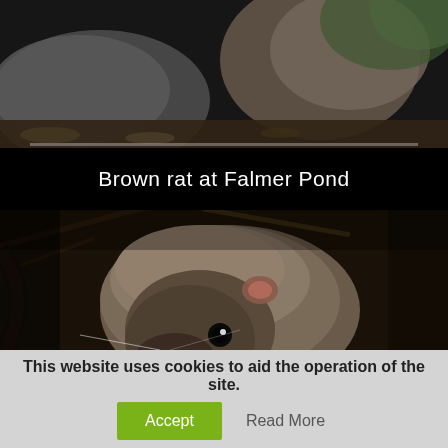[Figure (photo): Close-up photo of a brown rat partially visible, fur textured, natural outdoor setting with stones and leaves in background]
Brown rat at Falmer Pond
[Figure (photo): Close-up photograph of a brown rat on dark forest floor with twigs and leaves, looking directly at camera]
This website uses cookies to aid the operation of the site.
Accept
Read More